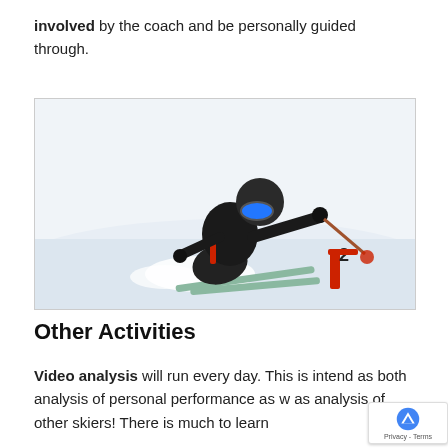involved by the coach and be personally guided through.
[Figure (photo): A skier wearing a black helmet and blue goggles, dressed in a black and red jacket, in a low crouch position racing on a snowy slope, holding ski poles. A race gate marker with the number 2 is visible in the snow.]
Other Activities
Video analysis will run every day. This is intend as both analysis of personal performance as w as analysis of other skiers! There is much to learn